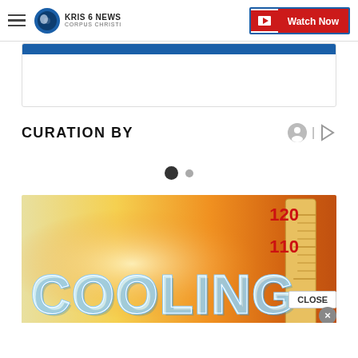KRIS 6 NEWS CORPUS CHRISTI — Watch Now
CURATION BY
[Figure (other): Carousel dot indicators: one filled dark circle and one small grey dot]
[Figure (photo): Promotional banner image showing the word COOLING in large 3D blue icy letters over a hot orange and yellow gradient background with a thermometer showing 120 and 110 degree markings in red]
CLOSE